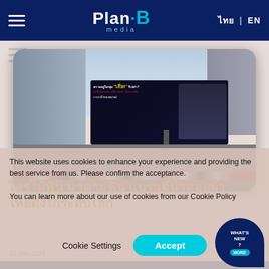Plan B media | ไทย | EN
[Figure (photo): Billboard advertisement on a highway in Thailand showing a Thai TV drama promotion with characters. City skyline visible in background with heavy traffic below.]
ไครโม้ฟัน มาดามฟัน แบรนด์น้ำหอมผ้า ไทยดังโกระดับโลก
This website uses cookies to enhance your experience and providing the best service from us. Please confirm the acceptance.
You can learn more about our use of cookies from our Cookie Policy
ไครโม้ฟัน มาดามฟัน แบรนด์น้ำหอมผา ไทยดังโกระดับโลก
01 Jun 2021
WHAT'S NEW ?
Cookie Settings
Accept